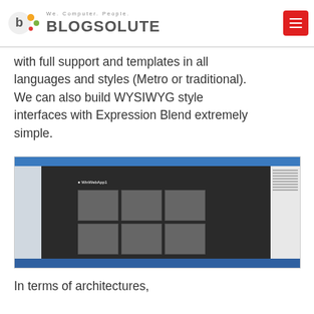BLOGSOLUTE — We. Computer. People.
with full support and templates in all languages and styles (Metro or traditional). We can also build WYSIWYG style interfaces with Expression Blend extremely simple.
[Figure (screenshot): Screenshot of Visual Studio or Expression Blend IDE showing a WinWebApp1 Windows Metro-style application with a grid of tiles in the designer, alongside code and solution explorer panels.]
In terms of architectures,